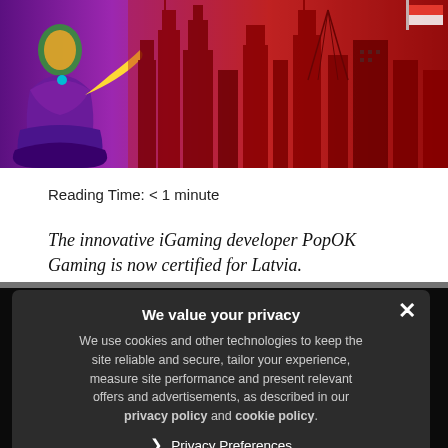[Figure (illustration): Banner image showing a stylized female character in purple clothing on the left, and a red/dark city skyline silhouette on the right, forming a game promotional banner.]
Reading Time: < 1 minute
The innovative iGaming developer PopOK Gaming is now certified for Latvia.
Further expanding its geographical possibilities, PopOK Gaming is now certified for one of the much-beloved games in... treasure, Diamond... aches, Lucky Jungle and the like, as well as the 4-level Progressive Jackpot... available for locals to try and achieve in the...
[Figure (screenshot): Privacy consent modal overlay on dark background. Title: 'We value your privacy'. Body text: 'We use cookies and other technologies to keep the site reliable and secure, tailor your experience, measure site performance and present relevant offers and advertisements, as described in our privacy policy and cookie policy.' Link: 'Privacy Preferences'. Button: 'I Agree'. Close button (×) in top right.]